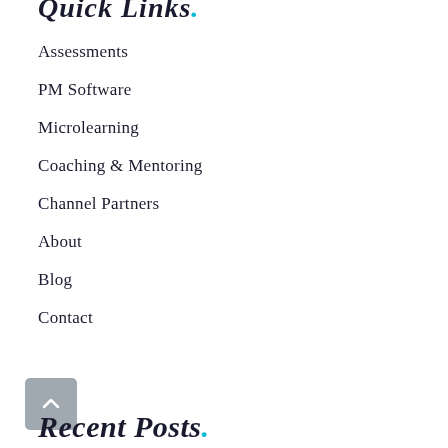Quick Links.
Assessments
PM Software
Microlearning
Coaching & Mentoring
Channel Partners
About
Blog
Contact
[Figure (other): Scroll-to-top button with upward caret/chevron icon, gray rounded square background]
Recent Posts.